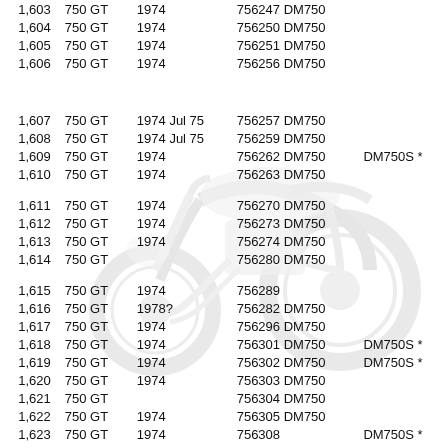| # | Model | Year | Engine/Frame | Notes |
| --- | --- | --- | --- | --- |
| 1,603 | 750 GT | 1974 | 756247 DM750 |  |
| 1,604 | 750 GT | 1974 | 756250 DM750 |  |
| 1,605 | 750 GT | 1974 | 756251 DM750 |  |
| 1,606 | 750 GT | 1974 | 756256 DM750 |  |
| 1,607 | 750 GT | 1974 Jul 75 | 756257 DM750 |  |
| 1,608 | 750 GT | 1974 Jul 75 | 756259 DM750 |  |
| 1,609 | 750 GT | 1974 | 756262 DM750 | DM750S * |
| 1,610 | 750 GT | 1974 | 756263 DM750 |  |
| 1,611 | 750 GT | 1974 | 756270 DM750 |  |
| 1,612 | 750 GT | 1974 | 756273 DM750 |  |
| 1,613 | 750 GT | 1974 | 756274 DM750 |  |
| 1,614 | 750 GT |  | 756280 DM750 |  |
| 1,615 | 750 GT | 1974 | 756289 |  |
| 1,616 | 750 GT | 1978? | 756282 DM750 |  |
| 1,617 | 750 GT | 1974 | 756296 DM750 |  |
| 1,618 | 750 GT | 1974 | 756301 DM750 | DM750S * |
| 1,619 | 750 GT | 1974 | 756302 DM750 | DM750S * |
| 1,620 | 750 GT | 1974 | 756303 DM750 |  |
| 1,621 | 750 GT |  | 756304 DM750 |  |
| 1,622 | 750 GT | 1974 | 756305 DM750 |  |
| 1,623 | 750 GT | 1974 | 756308 | DM750S * |
| 1,624 | 750 GT | 1974 | 756313 DM750 |  |